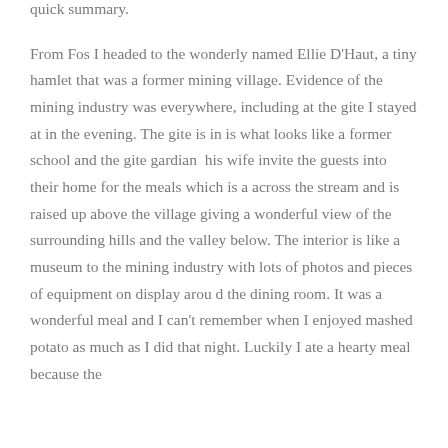quick summary.
From Fos I headed to the wonderly named Ellie D'Haut, a tiny hamlet that was a former mining village. Evidence of the mining industry was everywhere, including at the gite I stayed at in the evening. The gite is in is what looks like a former school and the gite gardian  his wife invite the guests into their home for the meals which is a across the stream and is raised up above the village giving a wonderful view of the surrounding hills and the valley below. The interior is like a museum to the mining industry with lots of photos and pieces of equipment on display arou d the dining room. It was a wonderful meal and I can't remember when I enjoyed mashed potato as much as I did that night. Luckily I ate a hearty meal because the